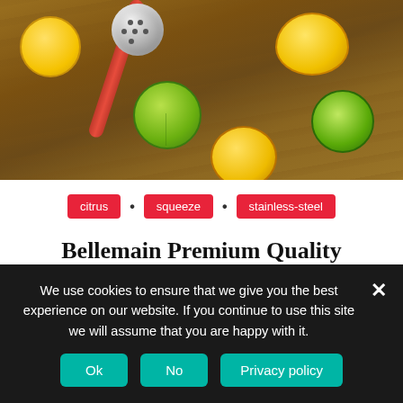[Figure (photo): A citrus squeezer with a red handle lying on a wooden cutting board surrounded by sliced lemons and limes in green and yellow colors.]
citrus · squeeze · stainless-steel
Bellemain Premium Quality Stainless Steel Lemon Squeezer with...
We use cookies to ensure that we give you the best experience on our website. If you continue to use this site we will assume that you are happy with it.
Ok  No  Privacy policy